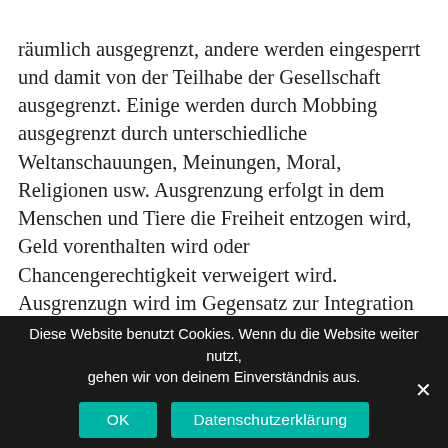räumlich ausgegrenzt, andere werden eingesperrt und damit von der Teilhabe der Gesellschaft ausgegrenzt. Einige werden durch Mobbing ausgegrenzt durch unterschiedliche Weltanschauungen, Meinungen, Moral, Religionen usw. Ausgrenzung erfolgt in dem Menschen und Tiere die Freiheit entzogen wird, Geld vorenthalten wird oder Chancengerechtigkeit verweigert wird. Ausgrenzugn wird im Gegensatz zur Integration eher negativ beurteilt. Es ist jedoch auch wichtig Grenzen zu setzen vor allem um uns zu schützen. Wir grenzen im Winter die Kälte aus, wir vermeiden
Diese Website benutzt Cookies. Wenn du die Website weiter nutzt, gehen wir von deinem Einverständnis aus.
OK
Datenschutzerklärung